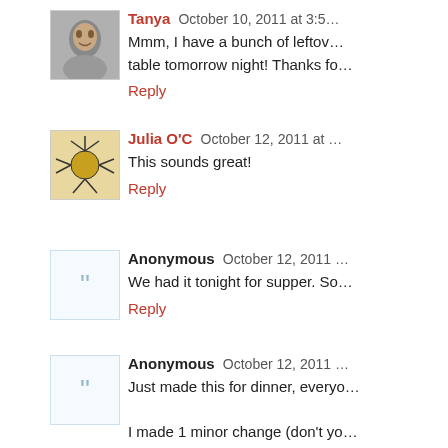Tanya  October 10, 2011 at 3:5…
Mmm, I have a bunch of leftov… table tomorrow night! Thanks fo…
Reply
Julia O'C  October 12, 2011 at …
This sounds great!
Reply
Anonymous  October 12, 2011 …
We had it tonight for supper. So…
Reply
Anonymous  October 12, 2011 …
Just made this for dinner, everyo…
I made 1 minor change (don't yo…